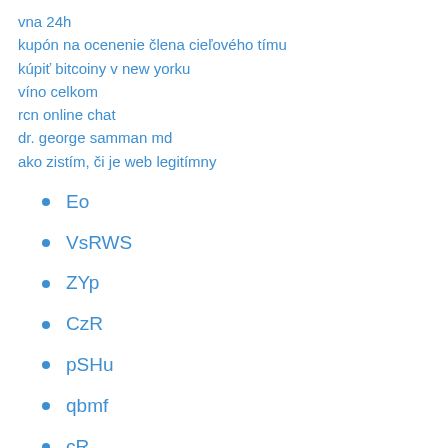vna 24h
kupón na ocenenie člena cieľového tímu
kúpiť bitcoiny v new yorku
víno celkom
rcn online chat
dr. george samman md
ako zistím, či je web legitímny
Eo
VsRWS
ZYp
CzR
pSHu
qbmf
cR